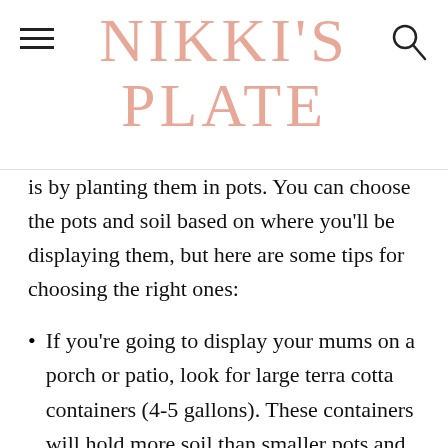NIKKI'S PLATE
is by planting them in pots. You can choose the pots and soil based on where you'll be displaying them, but here are some tips for choosing the right ones:
If you're going to display your mums on a porch or patio, look for large terra cotta containers (4-5 gallons). These containers will hold more soil than smaller pots and allow your plants plenty of room to grow.
They also look great with other fall decorations like pumpkins and gourds!